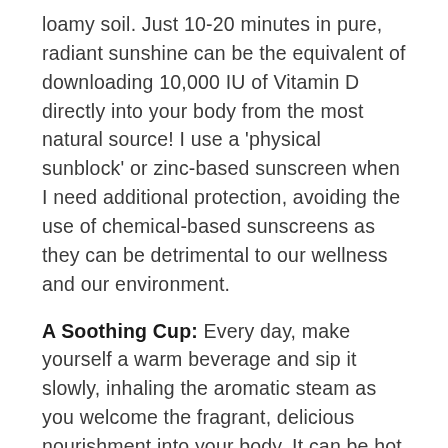loamy soil. Just 10-20 minutes in pure, radiant sunshine can be the equivalent of downloading 10,000 IU of Vitamin D directly into your body from the most natural source! I use a 'physical sunblock' or zinc-based sunscreen when I need additional protection, avoiding the use of chemical-based sunscreens as they can be detrimental to our wellness and our environment.
A Soothing Cup: Every day, make yourself a warm beverage and sip it slowly, inhaling the aromatic steam as you welcome the fragrant, delicious nourishment into your body. It can be hot water with lemon, a cup of your favourite herbal tea (I gravitate towards nutrient-dense moringa leaf with wild mint and